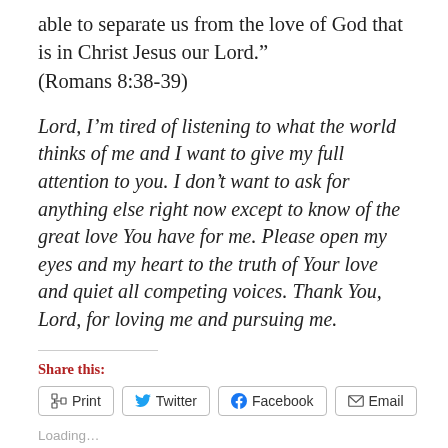able to separate us from the love of God that is in Christ Jesus our Lord." (Romans 8:38-39)
Lord, I’m tired of listening to what the world thinks of me and I want to give my full attention to you. I don’t want to ask for anything else right now except to know of the great love You have for me. Please open my eyes and my heart to the truth of Your love and quiet all competing voices. Thank You, Lord, for loving me and pursuing me.
Share this:
Print  Twitter  Facebook  Email
Loading...